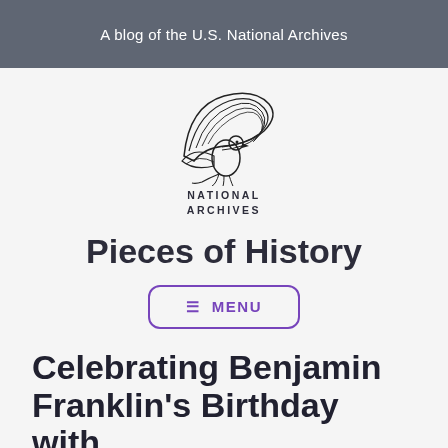A blog of the U.S. National Archives
[Figure (logo): National Archives logo featuring an eagle with wing spread on a globe, black line art illustration above the text NATIONAL ARCHIVES]
Pieces of History
☰ MENU
Celebrating Benjamin Franklin's Birthday with